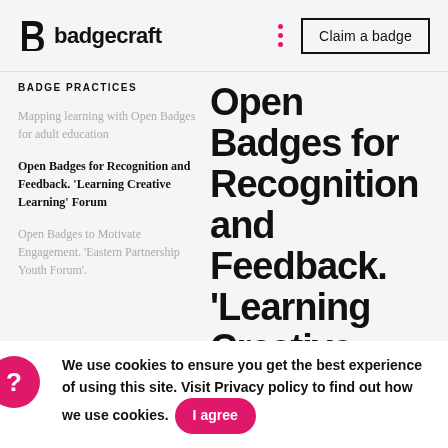badgecraft — Claim a badge
BADGE PRACTICES
Mapping learning with Open Badges for adult education
Open Badges for Recognition and Feedback. 'Learning Creative Learning' Forum
Open Badges to Motivate Engagement. 'Eastern Partnership Youth Forum'.
Open Badges for Recognition and Feedback. 'Learning Creative…
We use cookies to ensure you get the best experience of using this site. Visit Privacy policy to find out how we use cookies.